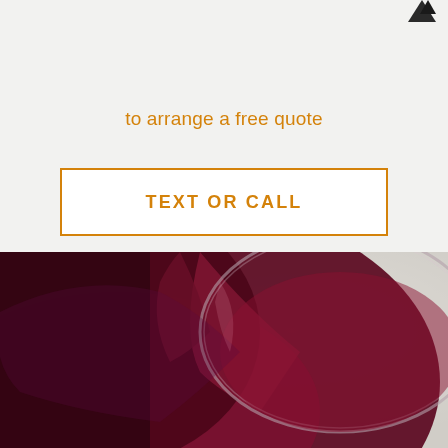[Figure (logo): Partial logo mark in upper right corner, dark shape]
to arrange a free quote
TEXT OR CALL
[Figure (photo): Close-up photo of red wine being poured into a glass, glass visible against a light carpet or fabric background, wine splashing with deep red and purple hues]